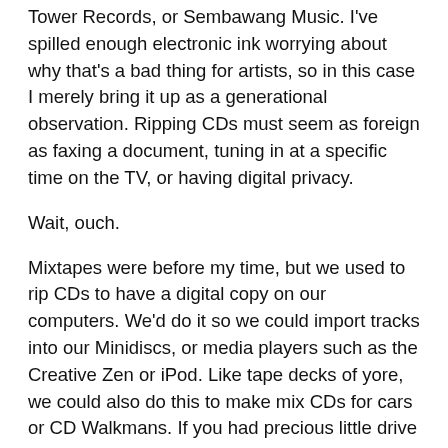Tower Records, or Sembawang Music. I've spilled enough electronic ink worrying about why that's a bad thing for artists, so in this case I merely bring it up as a generational observation. Ripping CDs must seem as foreign as faxing a document, tuning in at a specific time on the TV, or having digital privacy.
Wait, ouch.
Mixtapes were before my time, but we used to rip CDs to have a digital copy on our computers. We'd do it so we could import tracks into our Minidiscs, or media players such as the Creative Zen or iPod. Like tape decks of yore, we could also do this to make mix CDs for cars or CD Walkmans. If you had precious little drive space and two optical drives, software like Nero Burning ROM even supported live ripping and recording across discs, letting you swap out albums to make a mix without needing to rip them to your hard drive first. What a time to be alive!